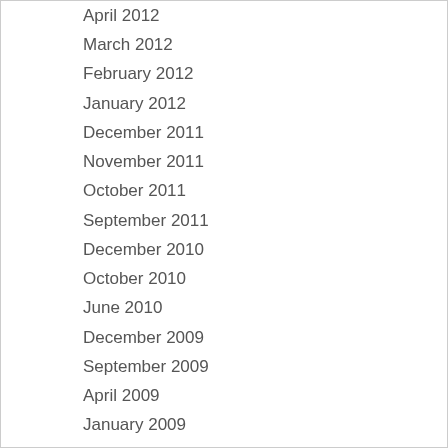April 2012
March 2012
February 2012
January 2012
December 2011
November 2011
October 2011
September 2011
December 2010
October 2010
June 2010
December 2009
September 2009
April 2009
January 2009
September 2008
May 2008
December 2007
November 2007
May 2007
September 2006
October 2005